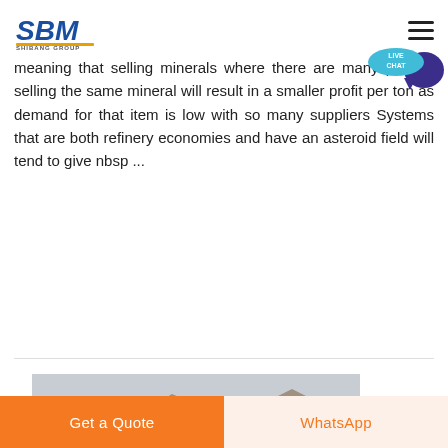SBM SHIBANG GROUP
meaning that selling minerals where there are many players selling the same mineral will result in a smaller profit per ton as demand for that item is low with so many suppliers Systems that are both refinery economies and have an asteroid field will tend to give nbsp ...
READ MORE
[Figure (photo): Desert mountain landscape, hazy tan/grey hills against pale sky]
Get a Quote
WhatsApp